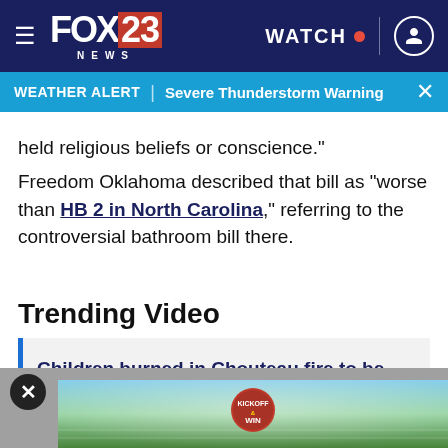FOX 23 NEWS | WATCH | [user icon]
WEATHER ALERT | Severe Thunderstorm Warning
held religious beliefs or conscience."
Freedom Oklahoma described that bill as "worse than HB 2 in North Carolina," referring to the controversial bathroom bill there.
Trending Video
Children burned in Chouteau fire to be treated in Galveston →
[Figure (screenshot): Advertisement banner showing 'KICKOFF & WIN' promotional content with football field background]